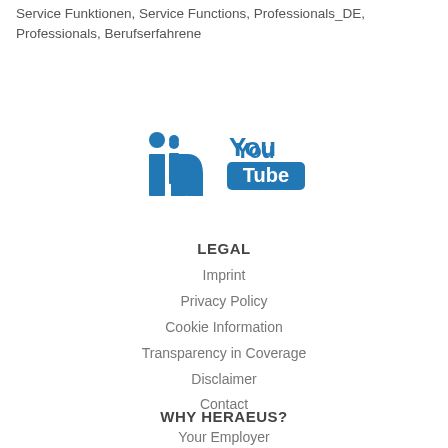Service Funktionen,  Service Functions,  Professionals_DE,  Professionals,  Berufserfahrene
[Figure (logo): LinkedIn and YouTube social media icons in blue]
LEGAL
Imprint
Privacy Policy
Cookie Information
Transparency in Coverage
Disclaimer
Contact
WHY HERAEUS?
Your Employer